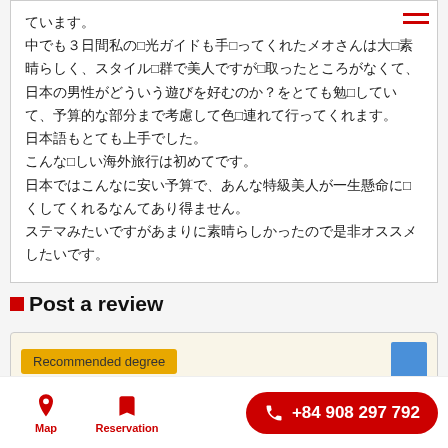ています。
中でも３日間私の観光ガイドも手伝ってくれたメオさんは大変素晴らしく、スタイル抜群で美人ですが気取ったところがなくて、日本の男性がどういう遊びを好むのか？をとても勉強していて、予算的な部分まで考慮して色々連れて行ってくれます。
日本語もとても上手でした。
こんな楽しい海外旅行は初めてです。
日本ではこんなに安い予算で、あんな特級美人が一生懸命に尽くしてくれるなんてあり得ません。
ステマみたいですがあまりに素晴らしかったので是非オススメしたいです。
Post a review
Recommended degree
Map  Reservation  +84 908 297 792